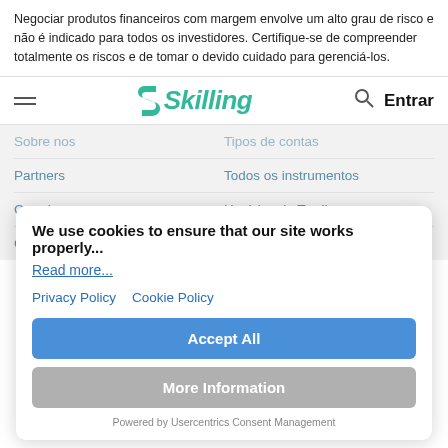Negociar produtos financeiros com margem envolve um alto grau de risco e não é indicado para todos os investidores. Certifique-se de compreender totalmente os riscos e de tomar o devido cuidado para gerenciá-los.
[Figure (logo): Skilling logo with green S icon and hamburger menu, search icon, and Entrar button]
Sobre nos
Tipos de contas
Partners
Todos os instrumentos
Carreiras
Horários de Trading
Contato
Taxas e Encargos Comerciais
We use cookies to ensure that our site works properly...
Read more...
Privacy Policy   Cookie Policy
Accept All
More Information
Powered by Usercentrics Consent Management